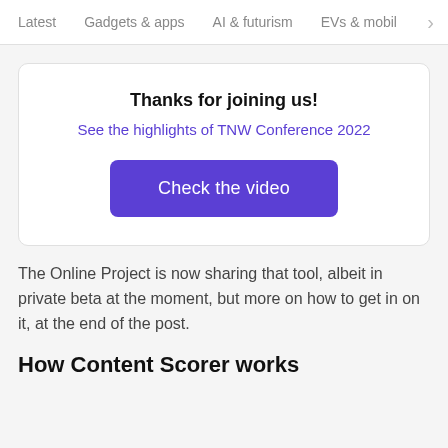Latest   Gadgets & apps   AI & futurism   EVs & mobil  >
Thanks for joining us!
See the highlights of TNW Conference 2022
[Figure (other): Purple button labeled 'Check the video']
The Online Project is now sharing that tool, albeit in private beta at the moment, but more on how to get in on it, at the end of the post.
How Content Scorer works